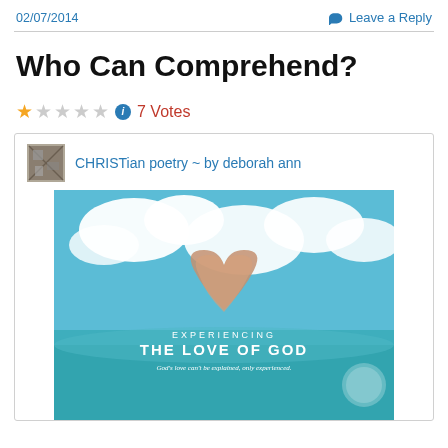02/07/2014    Leave a Reply
Who Can Comprehend?
1 star out of 5 (4 empty stars)  7 Votes
CHRISTian poetry ~ by deborah ann
[Figure (illustration): Book cover image titled 'EXPERIENCING THE LOVE OF GOD' with subtitle 'God's love can't be explained, only experienced.' showing a heart shape made of hands over a tropical ocean scene with clouds.]